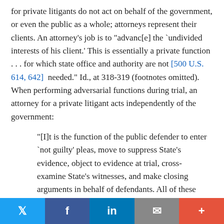for private litigants do not act on behalf of the government, or even the public as a whole; attorneys represent their clients. An attorney's job is to "advanc[e] the `undivided interests of his client.' This is essentially a private function . . . for which state office and authority are not [500 U.S. 614, 642] needed." Id., at 318-319 (footnotes omitted). When performing adversarial functions during trial, an attorney for a private litigant acts independently of the government:
"[I]t is the function of the public defender to enter `not guilty' pleas, move to suppress State's evidence, object to evidence at trial, cross-examine State's witnesses, and make closing arguments in behalf of defendants. All of these are adversarial functions. We find it peculiarly difficult to detect any color of state law in such activities." Id., at 320 (footnote omitted).
Twitter | Facebook | LinkedIn | Email | More